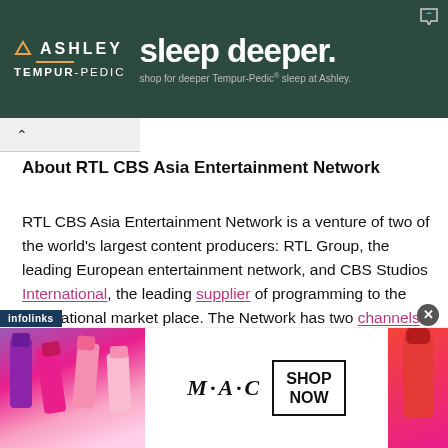[Figure (screenshot): Ashley Tempur-Pedic advertisement banner with dark green background. Text reads: ASHLEY, TEMPUR-PEDIC, sleep deeper. shop for deeper Tempur-Pedic sleep at Ashley.]
About RTL CBS Asia Entertainment Network
RTL CBS Asia Entertainment Network is a venture of two of the world's largest content producers: RTL Group, the leading European entertainment network, and CBS Studios International, the leading supplier of programming to the international market place. The Network has two channels: the general entertainment channel, RTL CBS Entertainment HD and the male-skewed entertainment channel, RTL CBS Extreme HD.
[Figure (screenshot): MAC cosmetics advertisement banner showing lipsticks on left and right, MAC logo in center, and SHOP NOW button in black border box.]